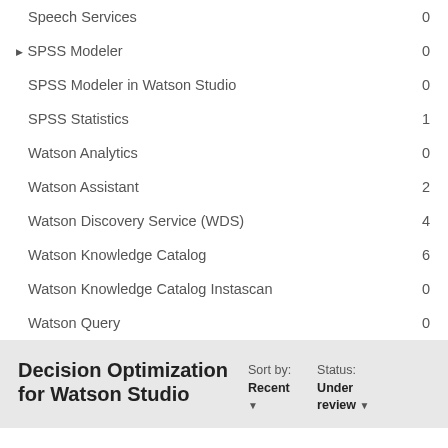Speech Services  0
▶ SPSS Modeler  0
SPSS Modeler in Watson Studio  0
SPSS Statistics  1
Watson Analytics  0
Watson Assistant  2
Watson Discovery Service (WDS)  4
Watson Knowledge Catalog  6
Watson Knowledge Catalog Instascan  0
Watson Query  0
Decision Optimization for Watson Studio
Sort by: Recent ▼
Status: Under review ▼